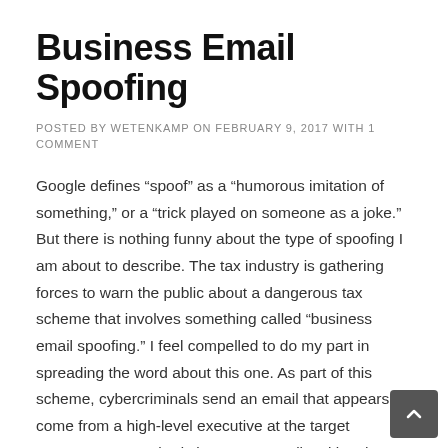Business Email Spoofing
POSTED BY WETENKAMP ON FEBRUARY 9, 2017 WITH 1 COMMENT
Google defines “spoof” as a “humorous imitation of something,” or a “trick played on someone as a joke.” But there is nothing funny about the type of spoofing I am about to describe. The tax industry is gathering forces to warn the public about a dangerous tax scheme that involves something called “business email spoofing.” I feel compelled to do my part in spreading the word about this one. As part of this scheme, cybercriminals send an email that appears to come from a high-level executive at the target company to somebody in HR or payroll, asking them for sensitive employee information (most often social security numbers or documents containing social security numbers). This particular scam first appeared last year and we are now seeing a second wave. Enough victims have reported these emails so that the IRS now has